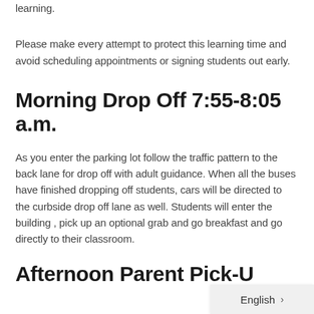learning.
Please make every attempt to protect this learning time and avoid scheduling appointments or signing students out early.
Morning Drop Off 7:55-8:05 a.m.
As you enter the parking lot follow the traffic pattern to the back lane for drop off with adult guidance. When all the buses have finished dropping off students, cars will be directed to the curbside drop off lane as well. Students will enter the building , pick up an optional grab and go breakfast and go directly to their classroom.
Afternoon Parent Pick-Up 3:40 p.m.